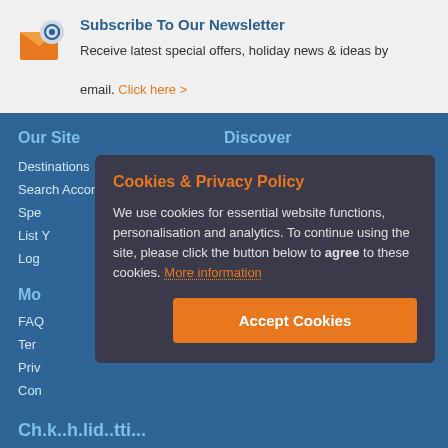Subscribe To Our Newsletter
Receive latest special offers, holiday news & ideas by email. Click here >
Our Site
Destinations
Search Accommodation
Spe...
List Y...
Log...
Discover
Blog
Holiday Features
Mo...
FAQ
Ter...
Priv...
Con...
Cookies & Privacy Policy
We use cookies for essential website functions, personalisation and analytics. To continue using the site, please click the button below to agree to these cookies. More information
Accept Cookies